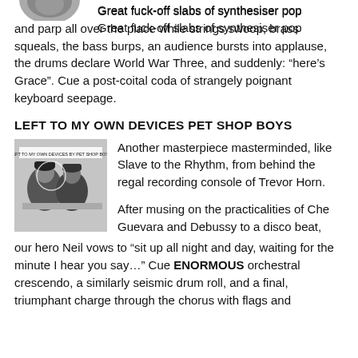[Figure (photo): Partial view of a person's head, cropped at top of page]
Great fuck-off slabs of synthesiser pop and parp all over the place while strings swoop, brass squeals, the bass burps, an audience bursts into applause, the drums declare World War Three, and suddenly: “here’s Grace”. Cue a post-coital coda of strangely poignant keyboard seepage.
LEFT TO MY OWN DEVICES PET SHOP BOYS
[Figure (photo): Black and white album cover image showing two people seated, with text overlay reading 'LEFT TO MY OWN DEVICES BY PET SHOP BOYS']
Another masterpiece masterminded, like Slave to the Rhythm, from behind the regal recording console of Trevor Horn.
After musing on the practicalities of Che Guevara and Debussy to a disco beat, our hero Neil vows to “sit up all night and day, waiting for the minute I hear you say…” Cue ENORMOUS orchestral crescendo, a similarly seismic drum roll, and a final, triumphant charge through the chorus with flags and